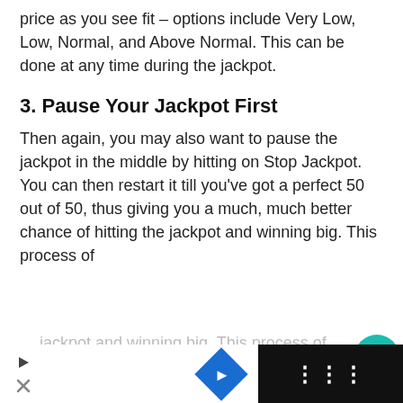price as you see fit – options include Very Low, Low, Normal, and Above Normal. This can be done at any time during the jackpot.
3. Pause Your Jackpot First
Then again, you may also want to pause the jackpot in the middle by hitting on Stop Jackpot. You can then restart it till you've got a perfect 50 out of 50, thus giving you a much, much better chance of hitting the jackpot and winning big. This process of rerolling isn't an exact science, but it does get the best experience on our
This website uses cookies to ensure you get the best experience on our